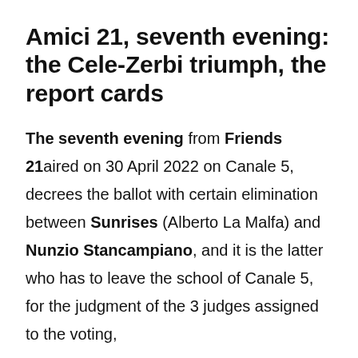Amici 21, seventh evening: the Cele-Zerbi triumph, the report cards
The seventh evening from Friends 21aired on 30 April 2022 on Canale 5, decrees the ballot with certain elimination between Sunrises (Alberto La Malfa) and Nunzio Stancampiano, and it is the latter who has to leave the school of Canale 5, for the judgment of the 3 judges assigned to the voting,